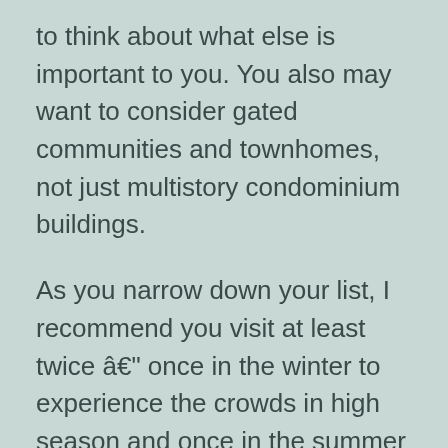to think about what else is important to you. You also may want to consider gated communities and townhomes, not just multistory condominium buildings.
As you narrow down your list, I recommend you visit at least twice â once in the winter to experience the crowds in high season and once in the summer to understandÂ what southern humidity is like. Itâs worse than in New Jersey.
Think about how you will build your new social network, even with all the social amenities in